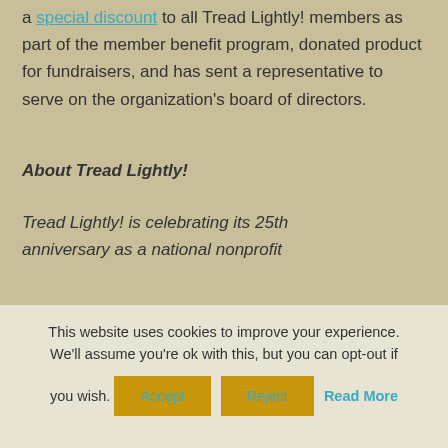a special discount to all Tread Lightly! members as part of the member benefit program, donated product for fundraisers, and has sent a representative to serve on the organization's board of directors.
About Tread Lightly!
Tread Lightly! is celebrating its 25th anniversary as a national nonprofit
This website uses cookies to improve your experience. We'll assume you're ok with this, but you can opt-out if you wish. Accept Reject Read More